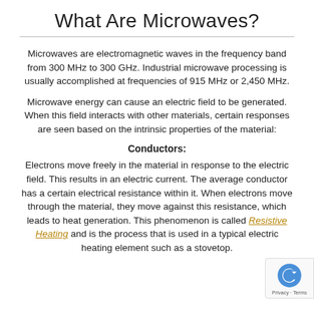What Are Microwaves?
Microwaves are electromagnetic waves in the frequency band from 300 MHz to 300 GHz. Industrial microwave processing is usually accomplished at frequencies of 915 MHz or 2,450 MHz.
Microwave energy can cause an electric field to be generated. When this field interacts with other materials, certain responses are seen based on the intrinsic properties of the material:
Conductors:
Electrons move freely in the material in response to the electric field. This results in an electric current. The average conductor has a certain electrical resistance within it. When electrons move through the material, they move against this resistance, which leads to heat generation. This phenomenon is called Resistive Heating and is the process that is used in a typical electric heating element such as a stovetop.